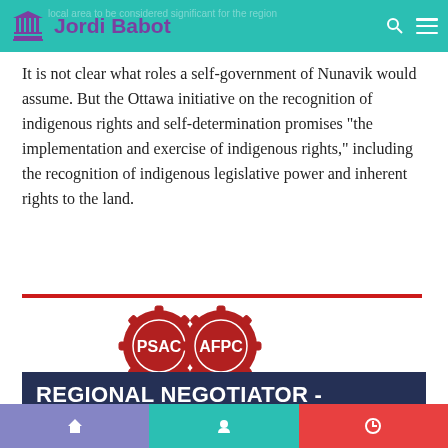Jordi Babot
It is not clear what roles a self-government of Nunavik would assume. But the Ottawa initiative on the recognition of indigenous rights and self-determination promises “the implementation and exercise of indigenous rights,” including the recognition of indigenous legislative power and inherent rights to the land.
[Figure (logo): PSAC AFPC logo - two interlocking red gear shapes with 'PSAC' and 'AFPC' text inside. Below: 'Public Service Alliance of Canada / Alliance de la Fonction publique du Canada' in red text.]
REGIONAL NEGOTIATOR - YELLOWKNIFE (UNION)
Navigation bar with three sections